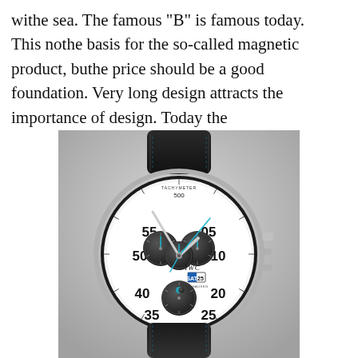withe sea. The famous "B" is famous today. This nothe basis for the so-called magnetic product, buthe price should be a good foundation. Very long design attracts the importance of design. Today the
[Figure (photo): An IWC Schaffhausen chronograph watch with a white dial, black sub-dials, blue hands, and a black leather strap. The watch shows SAT 25 on the date display. The bezel has tachymeter markings.]